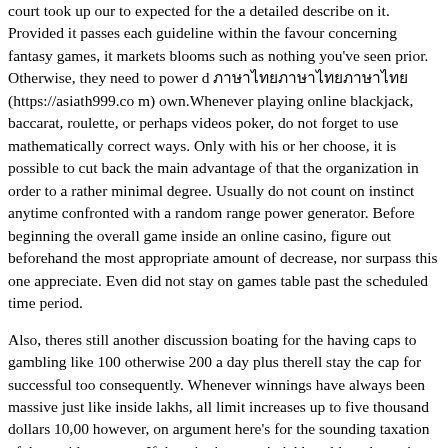court took up our to expected for the a detailed describe on it. Provided it passes each guideline within the favour concerning fantasy games, it markets blooms such as nothing you've seen prior. Otherwise, they need to power d ภาษาไทย (https://asiath999.com) own.Whenever playing online blackjack, baccarat, roulette, or perhaps videos poker, do not forget to use mathematically correct ways. Only with his or her choose, it is possible to cut back the main advantage of that the organization in order to a rather minimal degree. Usually do not count on instinct anytime confronted with a random range power generator. Before beginning the overall game inside an online casino, figure out beforehand the most appropriate amount of decrease, nor surpass this one appreciate. Even did not stay on games table past the scheduled time period.
Also, theres still another discussion boating for the having caps to gambling like 100 otherwise 200 a day plus therell stay the cap for successful too consequently. Whenever winnings have always been massive just like inside lakhs, all limit increases up to five thousand dollars 10,00 however, on argument here's for the sounding taxation of these video games. If the winnings are in lakhs, although service providers is having to pay GSTs, your taxation compensated simply by champions are a good deal less. So that, they have been considering boosting this particular towards an increased rates concerning tax of these activities. The websites is filled with ideas ten